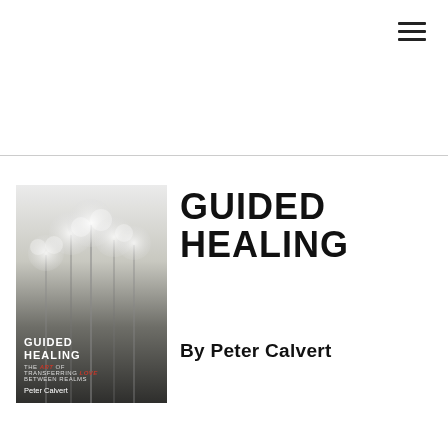[Figure (photo): Book cover for 'Guided Healing: The Art of Transferring Love Between Realms' by Peter Calvert. White fluffy plant stems on a misty background fading to dark at the bottom, with the title and author name overlaid.]
GUIDED HEALING
By Peter Calvert